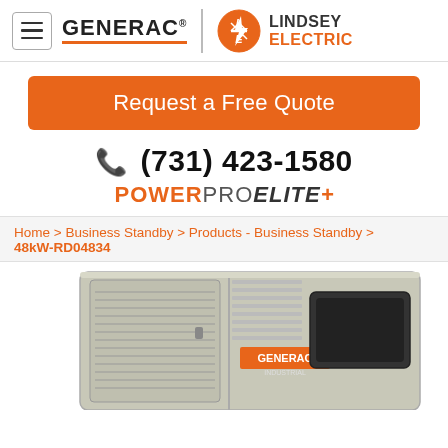[Figure (logo): Generac logo with orange underline and hamburger menu icon on left; Lindsey Electric logo with orange circle LE icon on right]
Request a Free Quote
(731) 423-1580
POWERPRO ELITE+
Home > Business Standby > Products - Business Standby > 48kW-RD04834
[Figure (photo): Generac commercial standby generator unit, stainless steel enclosure with louvered vents and control panel]